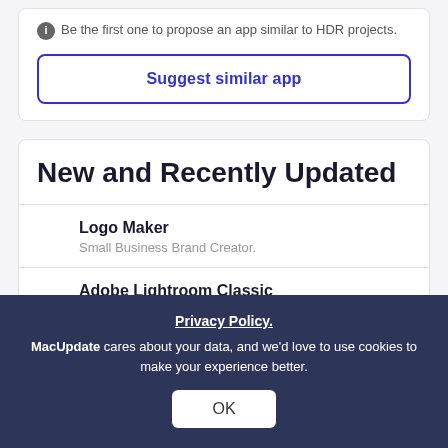Be the first one to propose an app similar to HDR projects.
Suggest similar app
New and Recently Updated
Logo Maker
Small Business Brand Creator.
Adobe Lightroom Classic
Import, Develop, Organize, volume for big
Adobe Photoshop
Professional image
Privacy Policy.
MacUpdate cares about your data, and we'd love to use cookies to make your experience better.
OK